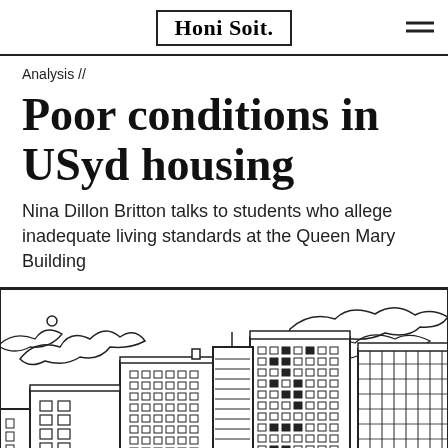Honi Soit.
Analysis //
Poor conditions in USyd housing
Nina Dillon Britton talks to students who allege inadequate living standards at the Queen Mary Building
[Figure (illustration): Line drawing illustration of urban apartment/dormitory buildings with many windows, shown against a cloudy sky background. The buildings resemble high-rise student housing with a grid of windows on their facades.]